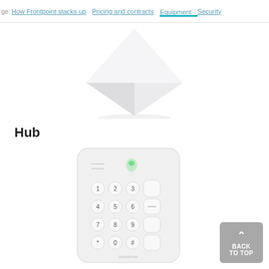ge: How Frontpoint stacks up | Pricing and contracts | Equipment | Security
[Figure (photo): White pyramid or diamond-shaped security sensor device, partially visible at top]
Hub
[Figure (photo): White Frontpoint security hub keypad device with numbered buttons 1-9 and additional keys, with green indicator light at top]